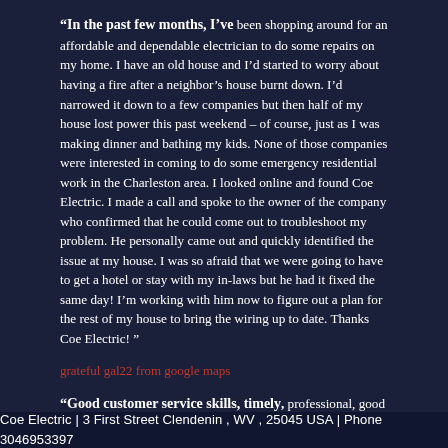"In the past few months, I've been shopping around for an affordable and dependable electrician to do some repairs on my home. I have an old house and I'd started to worry about having a fire after a neighbor's house burnt down. I'd narrowed it down to a few companies but then half of my house lost power this past weekend – of course, just as I was making dinner and bathing my kids. None of those companies were interested in coming to do some emergency residential work in the Charleston area. I looked online and found Coe Electric. I made a call and spoke to the owner of the company who confirmed that he could come out to troubleshoot my problem. He personally came out and quickly identified the issue at my house. I was so afraid that we were going to have to get a hotel or stay with my in-laws but he had it fixed the same day! I'm working with him now to figure out a plan for the rest of my house to bring the wiring up to date. Thanks Coe Electric! "
grateful gal22 from google maps
"Good customer service skills, timely, professional, good work too! Thanks Dan"
rob jones from google maps
Coe Electric | 3 First Street Clendenin , WV , 25045 USA | Phone 3046953397